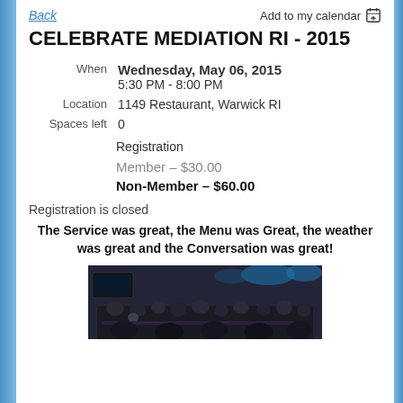Back | Add to my calendar
CELEBRATE MEDIATION RI - 2015
| Field | Value |
| --- | --- |
| When | Wednesday, May 06, 2015
5:30 PM - 8:00 PM |
| Location | 1149 Restaurant, Warwick RI |
| Spaces left | 0 |
Registration
Member – $30.00
Non-Member – $60.00
Registration is closed
The Service was great, the Menu was Great, the weather was great and the Conversation was great!
[Figure (photo): Indoor event photo showing a crowd of people seated at a restaurant/event venue with dim lighting and blue ambient light]